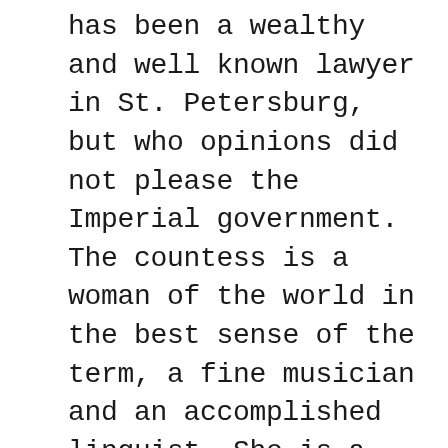has been a wealthy and well known lawyer in St. Petersburg, but who opinions did not please the Imperial government. The countess is a woman of the world in the best sense of the term, a fine musician and an accomplished linguist. She is a constant contributor to the Harper publications, the ‘Cosmopolitan’, the ‘Independent’, Lippincott’s Magazine, etc. Lately she has written a play which is to be produced by Manager Palmer of New York during the coming season. She has crossed the ocean no less than eighteen times and in both London and New York society has a large circle of connections and